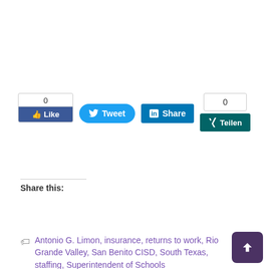[Figure (screenshot): Social media sharing buttons: Facebook Like (count 0), Tweet button, LinkedIn Share button, Xing Teilen button (count 0)]
Share this:
[Figure (screenshot): Share button with share icon]
Antonio G. Limon, insurance, returns to work, Rio Grande Valley, San Benito CISD, South Texas, staffing, Superintendent of Schools